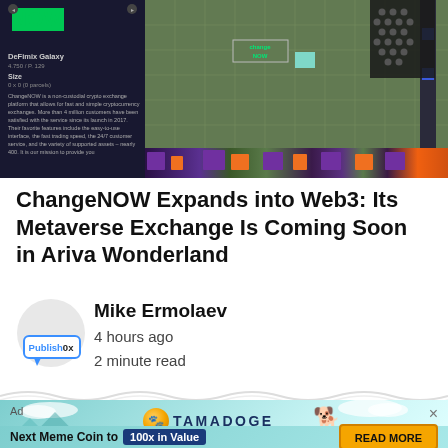[Figure (screenshot): Hero image showing ChangeNOW metaverse/Web3 exchange interface with dark left panel showing 'NOW' in green text and exchange info, and a green pixel-art grid game world on the right with ChangeNOW branding]
ChangeNOW Expands into Web3: Its Metaverse Exchange Is Coming Soon in Ariva Wonderland
[Figure (logo): Publish0x logo in speech bubble shape with blue border]
Mike Ermolaev
4 hours ago
2 minute read
[Figure (infographic): Tamadoge advertisement banner with teal background, Tamadoge logo, dog mascot, 'Next Meme Coin to 100x in Value' text with yellow button 'READ MORE']